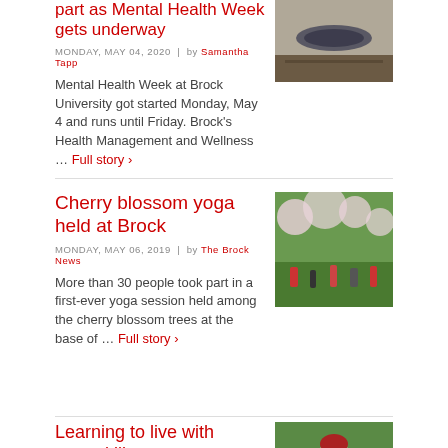part as Mental Health Week gets underway
MONDAY, MAY 04, 2020  |  by Samantha Tapp
Mental Health Week at Brock University got started Monday, May 4 and runs until Friday. Brock's Health Management and Wellness … Full story >
[Figure (photo): Rolled yoga mat on a dark surface]
Cherry blossom yoga held at Brock
MONDAY, MAY 06, 2019  |  by The Brock News
More than 30 people took part in a first-ever yoga session held among the cherry blossom trees at the base of … Full story >
[Figure (photo): People doing yoga outdoors under cherry blossom trees]
Learning to live with mental illness
MONDAY, MAY 07, 2018  |  by Jocelyn Titone
[Figure (photo): Woman with red hair sitting in a garden]